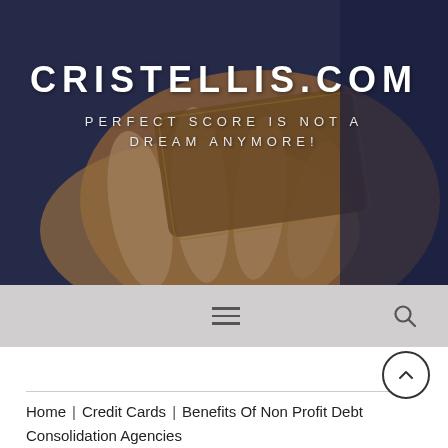[Figure (photo): Website header image showing a hand holding a gold/brown credit card against a dark blue background, with overlaid text showing the website name CRISTELLIS.COM and tagline PERFECT SCORE IS NOT A DREAM ANYMORE!]
CRISTELLIS.COM
PERFECT SCORE IS NOT A DREAM ANYMORE!
Navigation bar with hamburger menu and search icon
Home | Credit Cards | Benefits Of Non Profit Debt Consolidation Agencies